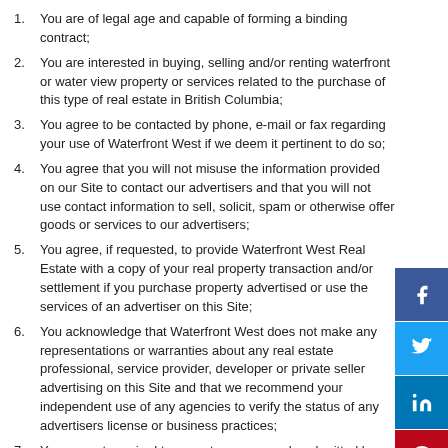You are of legal age and capable of forming a binding contract;
You are interested in buying, selling and/or renting waterfront or water view property or services related to the purchase of this type of real estate in British Columbia;
You agree to be contacted by phone, e-mail or fax regarding your use of Waterfront West if we deem it pertinent to do so;
You agree that you will not misuse the information provided on our Site to contact our advertisers and that you will not use contact information to sell, solicit, spam or otherwise offer goods or services to our advertisers;
You agree, if requested, to provide Waterfront West Real Estate with a copy of your real property transaction and/or settlement if you purchase property advertised or use the services of an advertiser on this Site;
You acknowledge that Waterfront West does not make any representations or warranties about any real estate professional, service provider, developer or private seller advertising on this Site and that we recommend your independent use of any agencies to verify the status of any advertisers license or business practices;
You are not required to accept any proposals submitted by other Waterfront West Users. Proposals are not binding offers and they are not intended to create a binding legal agreement between you and the advertiser.
You agree that as a seller/advertiser on our site, we reserve the right to